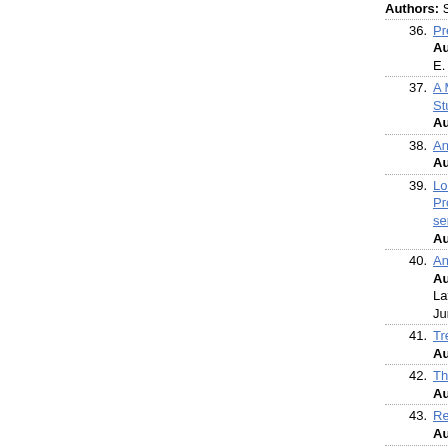Authors: Sergio Francisco Sargo Ferreira Lop...
36. Preliminary Experimental Study of a Single Slo...
Authors: Ernest Chidi Nwosu Kelechi Nsofor C... E. Anyanwu
37. A Method to Evaluate Virtual Opponent Based... Study with Dinobase
Authors: Adriana Gomes Alves Renan August...
38. Analysis of Putting up Piles using Empirical Me...
Authors: Lucas Souza da Silva Samuel Quein...
39. Looper angle and looper tension control betwe... Proportional Integral (PI) and Inverse Linear Q... servo valves and hydraulic cylinders
Authors: Américo Ferreira Neto Sergio Luiz P...
40. Analysis of genetic divergence through agrono...
Authors: Débora Thais da Silva Coutas Wede... Layanni Ferreira Sodré Santos Vanderlan Carr... Junior Zildiney Dantas Duarte da Silva
41. Treatment of Legal-Criminal Error in Extreme a...
Authors: Sebastião Pinto Rosalina Alves Nant...
42. The Pyramid of Information - criticism and oppo...
Authors: Milton Cesar Adrião Edelvino Razzol...
43. Reducing the Cost of Welding Paste in the Sur...
Authors: Marco Camargo Eduardo Braga
44. Occurrences of disasters involving rains in the...
Authors: Andressa Vieira da Cruz Guilherme...